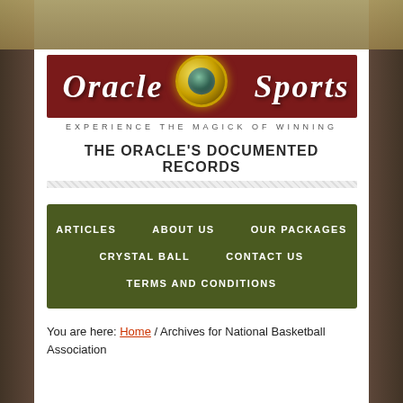[Figure (logo): Oracle Sports logo with dark red banner, gold orb in center, white italic text reading ORACLE and SPORTS, tagline EXPERIENCE THE MAGICK OF WINNING below]
THE ORACLE'S DOCUMENTED RECORDS
ARTICLES
ABOUT US
OUR PACKAGES
CRYSTAL BALL
CONTACT US
TERMS AND CONDITIONS
You are here: Home / Archives for National Basketball Association